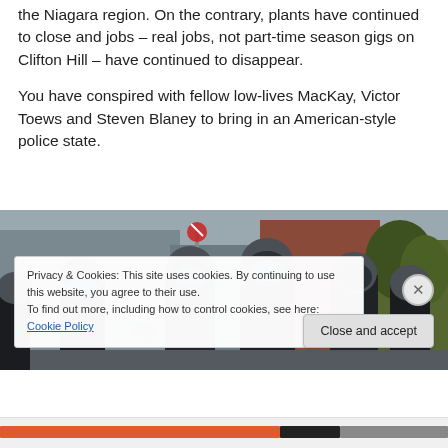the Niagara region. On the contrary, plants have continued to close and jobs – real jobs, not part-time season gigs on Clifton Hill – have continued to disappear.
You have conspired with fellow low-lives MacKay, Victor Toews and Steven Blaney to bring in an American-style police state.
[Figure (photo): Photo of riot police in full gear (helmets, shields) standing in an urban street setting with buildings and trees visible in the background.]
Privacy & Cookies: This site uses cookies. By continuing to use this website, you agree to their use.
To find out more, including how to control cookies, see here: Cookie Policy
Close and accept